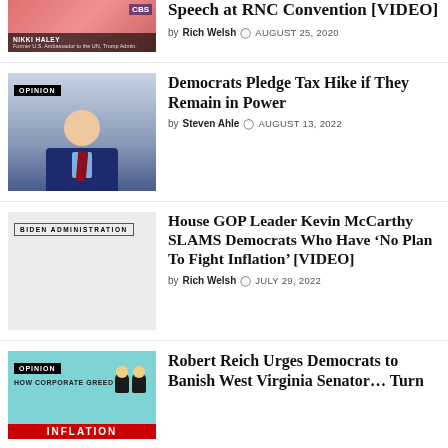[Figure (photo): Nikki Haley thumbnail with red/pink background and name badge showing 'NIKKI HALEY Former U.S. Ambassador to the UN, Trump Admin' with CBS logo]
Speech at RNC Convention [VIDEO]
by Rich Welsh  AUGUST 25, 2020
[Figure (photo): Man in dark suit and tie photo with OPINION badge, blue/grey background]
Democrats Pledge Tax Hike if They Remain in Power
by Steven Ahle  AUGUST 13, 2022
[Figure (photo): Light grey placeholder image with BIDEN ADMINISTRATION badge]
House GOP Leader Kevin McCarthy SLAMS Democrats Who Have ‘No Plan To Fight Inflation’ [VIDEO]
by Rich Welsh  JULY 29, 2022
[Figure (illustration): Cartoon inflation illustration with aqua background, OPINION badge, HOW CORPORATE GREED DRI... text and red INFLATION banner at bottom]
Robert Reich Urges Democrats to Banish West Virginia Senator… Turn